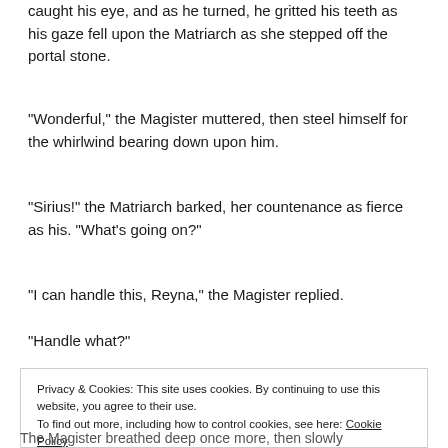caught his eye, and as he turned, he gritted his teeth as his gaze fell upon the Matriarch as she stepped off the portal stone.
“Wonderful,” the Magister muttered, then steel himself for the whirlwind bearing down upon him.
“Sirius!” the Matriarch barked, her countenance as fierce as his. “What’s going on?”
“I can handle this, Reyna,” the Magister replied.
“Handle what?”
Privacy & Cookies: This site uses cookies. By continuing to use this website, you agree to their use.
To find out more, including how to control cookies, see here: Cookie Policy
The Magister breathed deep once more, then slowly